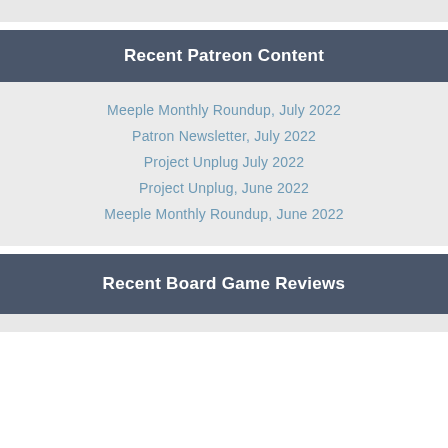Recent Patreon Content
Meeple Monthly Roundup, July 2022
Patron Newsletter, July 2022
Project Unplug July 2022
Project Unplug, June 2022
Meeple Monthly Roundup, June 2022
Recent Board Game Reviews